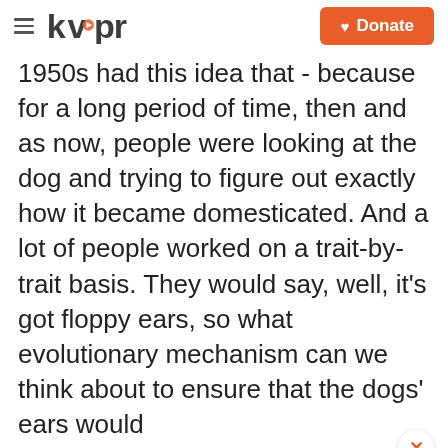kvpr | Donate
1950s had this idea that - because for a long period of time, then and as now, people were looking at the dog and trying to figure out exactly how it became domesticated. And a lot of people worked on a trait-by-trait basis. They would say, well, it's got floppy ears, so what evolutionary mechanism can we think about to ensure that the dogs' ears would
Subscribe to the KVPR Email Newsletter
Get the latest news delivered to your inbox.
Your email address
SUBSCRIBE